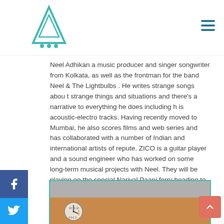Neel Adhikan a music producer and singer songwriter from Kolkata, as well as the frontman for the band Neel & The Lightbulbs . He writes strange songs abou t strange things and situations and there's a narrative to everything he does including h is acoustic-electro tracks. Having recently moved to Mumbai, he also scores films and web series and has collaborated with a number of Indian and international artists of repute. ZICO is a guitar player and a sound engineer who has worked on some long-term musical projects with Neel. They will be playing on the special Nariyal Paani ferry heading to the festival on 21 st January.
[Figure (photo): Photo of two people in a room with orange walls and ceiling tiles, a clock visible on the left side]